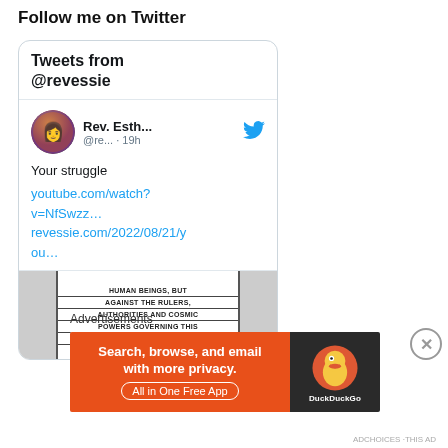Follow me on Twitter
[Figure (screenshot): Twitter widget showing 'Tweets from @revessie' with a tweet from Rev. Esth... @re... · 19h saying 'Your struggle' with links youtube.com/watch?v=NfSwzz… and revessie.com/2022/08/21/you… and a book image with text about human beings, rulers, authorities and cosmic powers]
Advertisements
[Figure (screenshot): DuckDuckGo advertisement banner: 'Search, browse, and email with more privacy. All in One Free App' with DuckDuckGo duck logo on dark background]